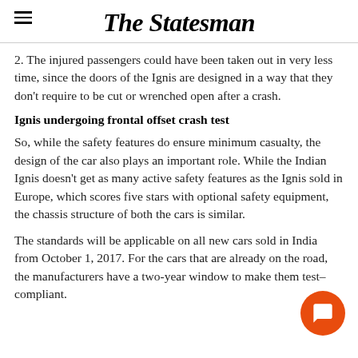The Statesman
2. The injured passengers could have been taken out in very less time, since the doors of the Ignis are designed in a way that they don't require to be cut or wrenched open after a crash.
Ignis undergoing frontal offset crash test
So, while the safety features do ensure minimum casualty, the design of the car also plays an important role. While the Indian Ignis doesn't get as many active safety features as the Ignis sold in Europe, which scores five stars with optional safety equipment, the chassis structure of both the cars is similar.
The standards will be applicable on all new cars sold in India from October 1, 2017. For the cars that are already on the road, the manufacturers have a two-year window to make them test–compliant.